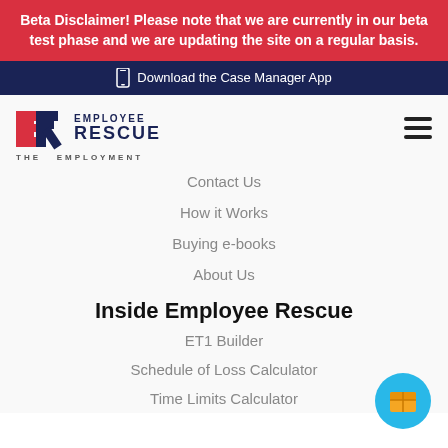Beta Disclaimer! Please note that we are currently in our beta test phase and we are updating the site on a regular basis.
Download the Case Manager App
[Figure (logo): Employee Rescue logo with ER initials and tagline THE EMPLOYMENT]
Contact Us
How it Works
Buying e-books
About Us
Inside Employee Rescue
ET1 Builder
Schedule of Loss Calculator
Time Limits Calculator